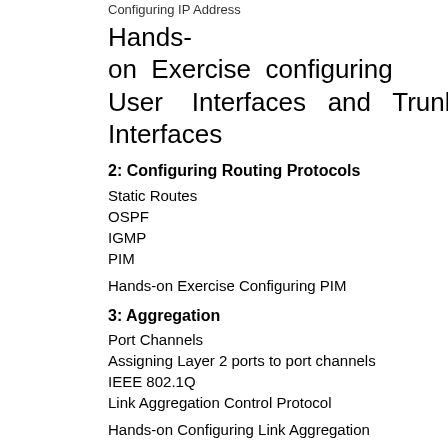Configuring IP Address
Hands-on Exercise configuring User Interfaces and Trunk Interfaces
2: Configuring Routing Protocols
Static Routes
OSPF
IGMP
PIM
Hands-on Exercise Configuring PIM
3: Aggregation
Port Channels
Assigning Layer 2 ports to port channels
IEEE 802.1Q
Link Aggregation Control Protocol
Hands-on Configuring Link Aggregation
4: Reliability Protocols
Importance of default routers
Loss of router access